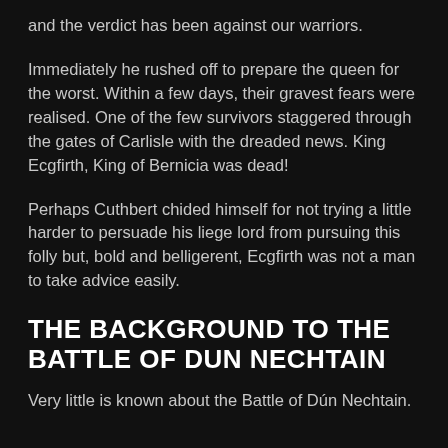and the verdict has been against our warriors.
Immediately he rushed off to prepare the queen for the worst. Within a few days, their gravest fears were realised. One of the few survivors staggered through the gates of Carlisle with the dreaded news. King Ecgfirth, King of Bernicia was dead!
Perhaps Cuthbert chided himself for not trying a little harder to persuade his liege lord from pursuing this folly but, bold and belligerent, Ecgfirth was not a man to take advice easily.
THE BACKGROUND TO THE BATTLE OF DUN NECHTAIN
Very little is known about the Battle of Dún Nechtain.